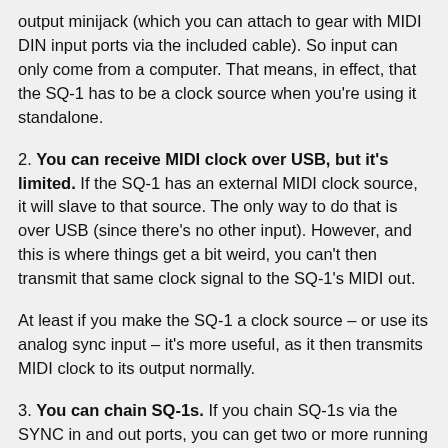output minijack (which you can attach to gear with MIDI DIN input ports via the included cable). So input can only come from a computer. That means, in effect, that the SQ-1 has to be a clock source when you're using it standalone.
2. You can receive MIDI clock over USB, but it's limited. If the SQ-1 has an external MIDI clock source, it will slave to that source. The only way to do that is over USB (since there's no other input). However, and this is where things get a bit weird, you can't then transmit that same clock signal to the SQ-1's MIDI out.
At least if you make the SQ-1 a clock source – or use its analog sync input – it's more useful, as it then transmits MIDI clock to its output normally.
3. You can chain SQ-1s. If you chain SQ-1s via the SYNC in and out ports, you can get two or more running in sync. But that SYNC connection is somewhat limited, it...